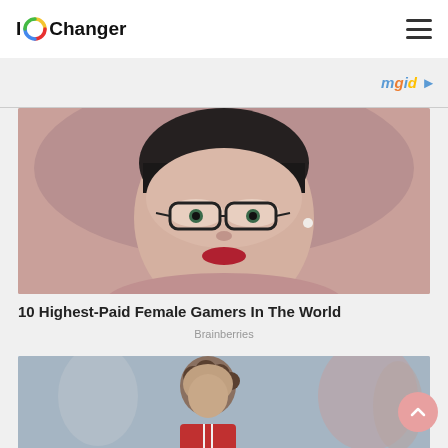IOChanger
[Figure (logo): IOChanger logo with colorful circular icon and text]
[Figure (other): mgid TV advertisement banner strip]
[Figure (photo): Close-up photo of a woman with short dark hair, glasses, red lipstick, and pearl necklace]
10 Highest-Paid Female Gamers In The World
Brainberries
[Figure (photo): Photo of a young person with curly hair in a red sports jersey, looking down, with blurred crowd in background]